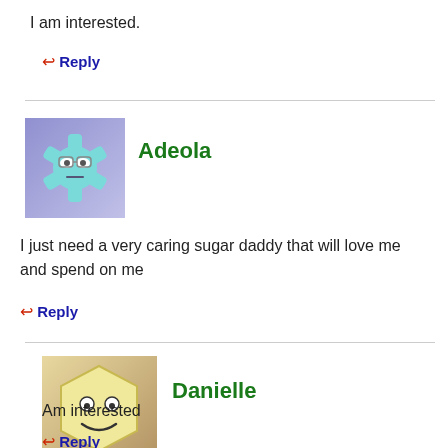I am interested.
↩ Reply
[Figure (illustration): Avatar icon of Adeola - teal gear/snowflake character with glasses on purple background]
Adeola
I just need a very caring sugar daddy that will love me and spend on me
↩ Reply
[Figure (illustration): Avatar icon of Danielle - hexagon smiley face on tan/brown background]
Danielle
Am interested
↩ Reply